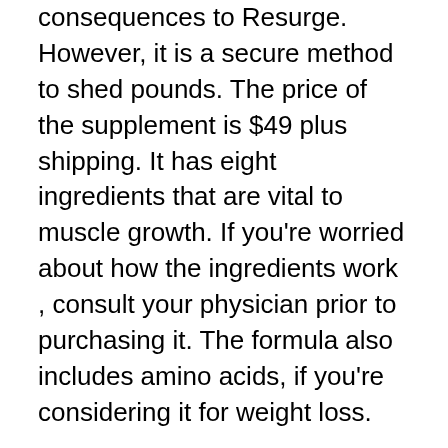consequences to Resurge. However, it is a secure method to shed pounds. The price of the supplement is $49 plus shipping. It has eight ingredients that are vital to muscle growth. If you're worried about how the ingredients work , consult your physician prior to purchasing it. The formula also includes amino acids, if you're considering it for weight loss.
Resurge is a fantastic product for reducing body fat in the morning. It works by increasing GABA and serotonin which are two neurotransmitters that affect your mood and ability to fall asleep. This supplement is not a sleep aid. It's a sleep aid that can help your body to heal itself. There aren't any adverse side consequences effects of Resurge. The...